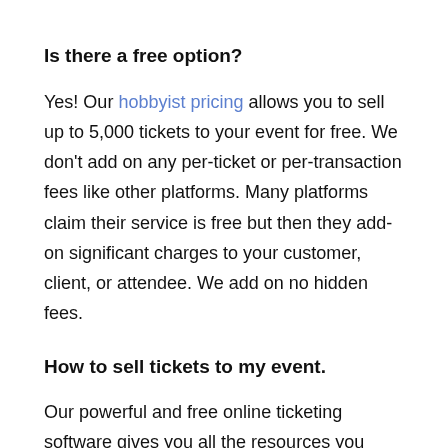Is there a free option?
Yes! Our hobbyist pricing allows you to sell up to 5,000 tickets to your event for free. We don't add on any per-ticket or per-transaction fees like other platforms. Many platforms claim their service is free but then they add-on significant charges to your customer, client, or attendee. We add on no hidden fees.
How to sell tickets to my event.
Our powerful and free online ticketing software gives you all the resources you need to organize